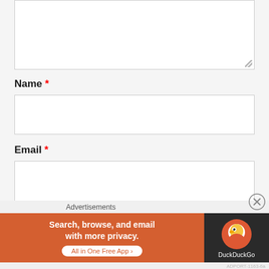[Figure (screenshot): A text area input box (partially visible, top of page), showing an empty white form field with a resize handle at the bottom right corner.]
Name *
[Figure (screenshot): An empty white input box for the Name field.]
Email *
[Figure (screenshot): An empty white input box for the Email field.]
Website
[Figure (screenshot): An advertisement overlay at the bottom of the page showing a DuckDuckGo ad with text: 'Search, browse, and email with more privacy. All in One Free App'. Orange left panel, dark right panel with DuckDuckGo logo. A close button (X) is in the top right corner of the overlay.]